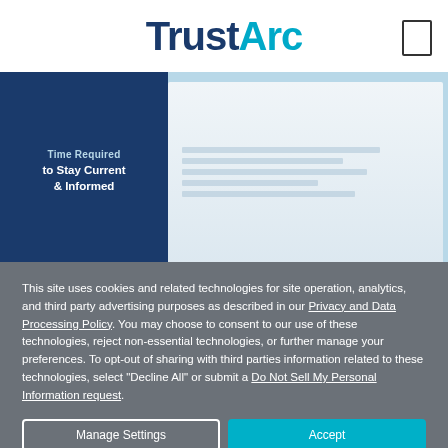[Figure (logo): TrustArc logo with 'Trust' in dark navy blue and 'Arc' in teal/cyan color]
[Figure (screenshot): Banner image showing a document titled 'Time Required to Stay Current & Informed' with a dark navy panel on the left and a screenshot/dashboard on the right, on a light blue background]
This site uses cookies and related technologies for site operation, analytics, and third party advertising purposes as described in our Privacy and Data Processing Policy. You may choose to consent to our use of these technologies, reject non-essential technologies, or further manage your preferences. To opt-out of sharing with third parties information related to these technologies, select "Decline All" or submit a Do Not Sell My Personal Information request.
Manage Settings
Accept
Decline All